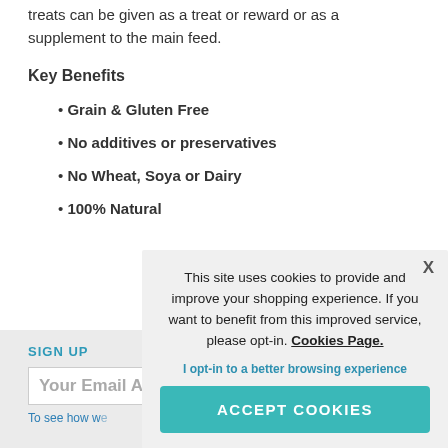treats can be given as a treat or reward or as a supplement to the main feed.
Key Benefits
Grain & Gluten Free
No additives or preservatives
No Wheat, Soya or Dairy
100% Natural
SIGN UP
Your Email Address
To see how we...
This site uses cookies to provide and improve your shopping experience. If you want to benefit from this improved service, please opt-in. Cookies Page.
I opt-in to a better browsing experience
ACCEPT COOKIES
Privacy Sit...